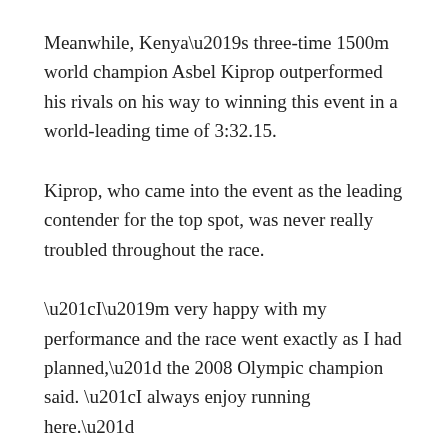Meanwhile, Kenya's three-time 1500m world champion Asbel Kiprop outperformed his rivals on his way to winning this event in a world-leading time of 3:32.15.
Kiprop, who came into the event as the leading contender for the top spot, was never really troubled throughout the race.
“I’m very happy with my performance and the race went exactly as I had planned,” the 2008 Olympic champion said. “I always enjoy running here.”
Kiprop defeated second place Elijah Motonei Manangoi, the world silver medallist by more than